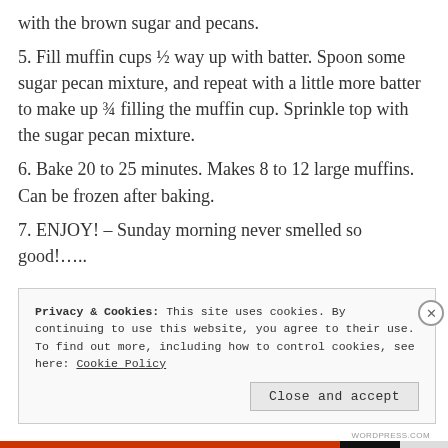with the brown sugar and pecans.
5. Fill muffin cups ½ way up with batter. Spoon some sugar pecan mixture, and repeat with a little more batter to make up ¾ filling the muffin cup. Sprinkle top with the sugar pecan mixture.
6. Bake 20 to 25 minutes. Makes 8 to 12 large muffins. Can be frozen after baking.
7. ENJOY! – Sunday morning never smelled so good!…..
Privacy & Cookies: This site uses cookies. By continuing to use this website, you agree to their use.
To find out more, including how to control cookies, see here: Cookie Policy